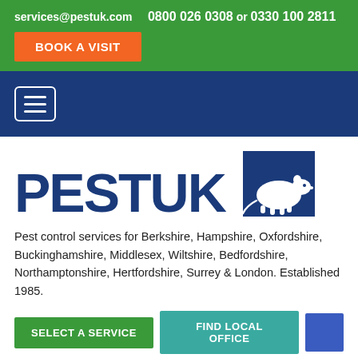services@pestuk.com  0800 026 0308 or 0330 100 2811
BOOK A VISIT
[Figure (screenshot): Hamburger menu icon in navy navigation bar]
[Figure (logo): PESTUK logo with blue text and white rat silhouette on blue square background]
Pest control services for Berkshire, Hampshire, Oxfordshire, Buckinghamshire, Middlesex, Wiltshire, Bedfordshire, Northamptonshire, Hertfordshire, Surrey & London. Established 1985.
SELECT A SERVICE
FIND LOCAL OFFICE